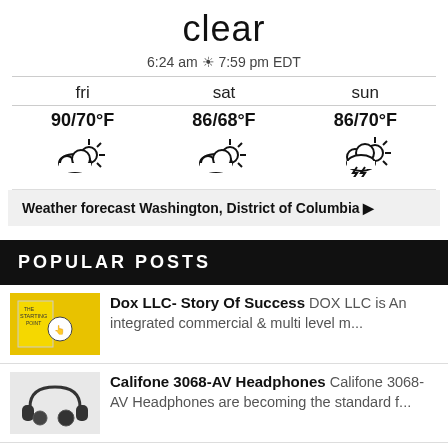clear
6:24 am ☀ 7:59 pm EDT
[Figure (infographic): 3-day weather forecast showing fri 90/70°F partly cloudy, sat 86/68°F partly cloudy, sun 86/70°F thunderstorm]
Weather forecast Washington, District of Columbia ▶
POPULAR POSTS
Dox LLC- Story Of Success DOX LLC is An integrated commercial & multi level m...
Califone 3068-AV Headphones Califone 3068-AV Headphones are becoming the standard f...
Dr. Arani and quality of care for all Dr. Siavash Arani M.D. is a renowned and notable author...